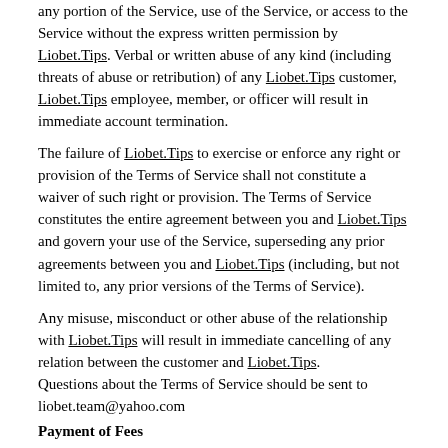any portion of the Service, use of the Service, or access to the Service without the express written permission by Liobet.Tips. Verbal or written abuse of any kind (including threats of abuse or retribution) of any Liobet.Tips customer, Liobet.Tips employee, member, or officer will result in immediate account termination.
The failure of Liobet.Tips to exercise or enforce any right or provision of the Terms of Service shall not constitute a waiver of such right or provision. The Terms of Service constitutes the entire agreement between you and Liobet.Tips and govern your use of the Service, superseding any prior agreements between you and Liobet.Tips (including, but not limited to, any prior versions of the Terms of Service).
Any misuse, misconduct or other abuse of the relationship with Liobet.Tips will result in immediate cancelling of any relation between the customer and Liobet.Tips.
Questions about the Terms of Service should be sent to liobet.team@yahoo.com
Payment of Fees
Customer is to be billed in advance by Liobet.Tips for the subscription offered. Before the subscription is available for use, customer must accept the terms of business as presented. All charges and billing histories are presented by liobet.tips.